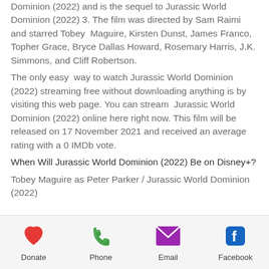Dominion (2022) and is the sequel to Jurassic World  Dominion (2022) 3. The film was directed by Sam Raimi and starred Tobey  Maguire, Kirsten Dunst, James Franco, Topher Grace, Bryce Dallas Howard, Rosemary Harris, J.K. Simmons, and Cliff Robertson.
The only easy  way to watch Jurassic World Dominion (2022) streaming free without downloading anything is by visiting this web page. You can stream  Jurassic World Dominion (2022) online here right now. This film will be  released on 17 November 2021 and received an average rating with a 0 IMDb vote.
When Will Jurassic World Dominion (2022) Be on Disney+?
Tobey Maguire as Peter Parker / Jurassic World Dominion (2022)
Donate | Phone | Email | Facebook